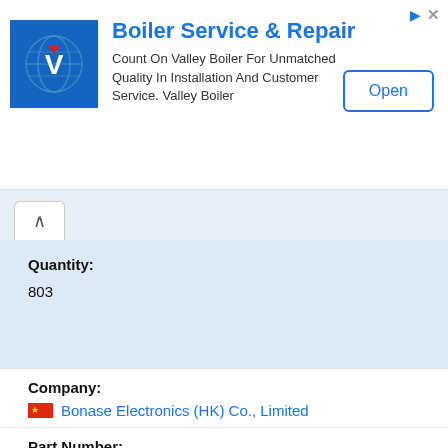[Figure (logo): Valley Boiler blue square logo with V and globe graphic]
Boiler Service & Repair
Count On Valley Boiler For Unmatched Quality In Installation And Customer Service. Valley Boiler
Open
Quantity:
803
Company:
Bonase Electronics (HK) Co., Limited
Part Number:
ATmega168PA-AU
Manufacturer: